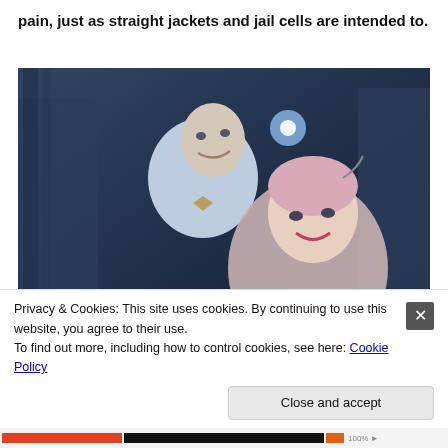a brutally inhuman way of simulating people's permanent pain, just as straight jackets and jail cells are intended to.
[Figure (photo): A movie or TV still showing two characters in a fantastical or science-fiction setting. One character is a bald man in white wearing a bow tie, smiling. The other is a woman with pink/light hair and dramatic makeup, with some kind of device near her head. The background appears dark and ornate.]
Privacy & Cookies: This site uses cookies. By continuing to use this website, you agree to their use. To find out more, including how to control cookies, see here: Cookie Policy
Close and accept